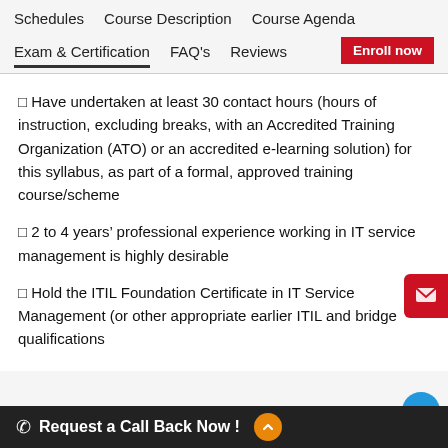Schedules   Course Description   Course Agenda
Exam & Certification   FAQ's   Reviews   Enroll now
☑ Have undertaken at least 30 contact hours (hours of instruction, excluding breaks, with an Accredited Training Organization (ATO) or an accredited e-learning solution) for this syllabus, as part of a formal, approved training course/scheme
☑ 2 to 4 years' professional experience working in IT service management is highly desirable
☑ Hold the ITIL Foundation Certificate in IT Service Management (or other appropriate earlier ITIL and bridge qualifications
Request a Call Back Now !